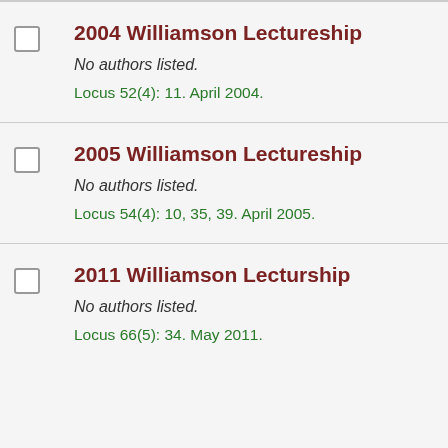2004 Williamson Lectureship
No authors listed.
Locus 52(4): 11. April 2004.
2005 Williamson Lectureship
No authors listed.
Locus 54(4): 10, 35, 39. April 2005.
2011 Williamson Lecturship
No authors listed.
Locus 66(5): 34. May 2011.